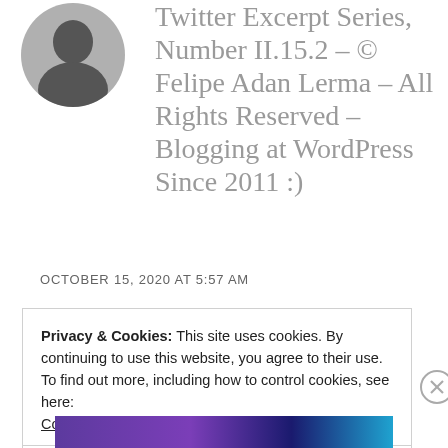[Figure (illustration): Circular avatar/profile photo, dark silhouette, top-left area]
Twitter Excerpt Series, Number II.15.2 – © Felipe Adan Lerma – All Rights Reserved – Blogging at WordPress Since 2011 :)
OCTOBER 15, 2020 AT 5:57 AM
Privacy & Cookies: This site uses cookies. By continuing to use this website, you agree to their use.
To find out more, including how to control cookies, see here: Cookie Policy
Close and accept